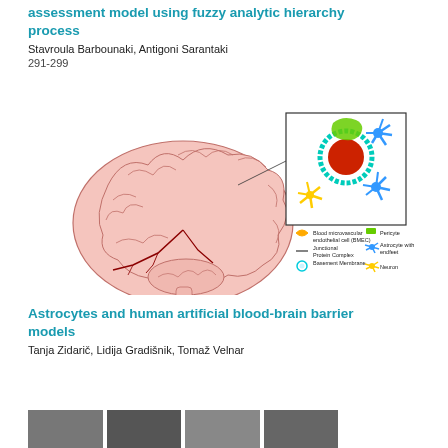assessment model using fuzzy analytic hierarchy process
Stavroula Barbounaki, Antigoni Sarantaki
291-299
[Figure (illustration): Diagram of a human brain with a magnified inset showing blood-brain barrier cellular components including blood microvascular endothelial cell (BMEC), Junctional Protein Complex, Basement Membrane, Pericyte, Astrocyte with endfeet, and Neuron.]
Astrocytes and human artificial blood-brain barrier models
Tanja Zidarič, Lidija Gradišnik, Tomaž Velnar
[Figure (photo): Row of black and white microscopy or medical images at the bottom of the page.]